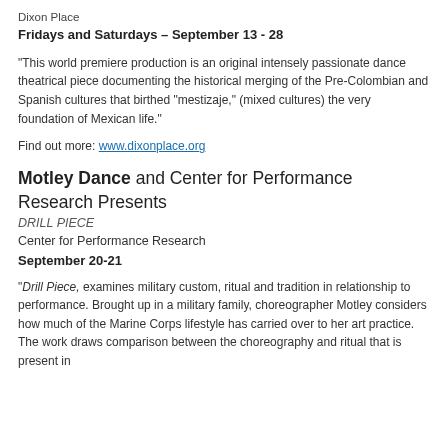Dixon Place
Fridays and Saturdays – September 13 - 28
“This world premiere production is an original intensely passionate dance theatrical piece documenting the historical merging of the Pre-Colombian and Spanish cultures that birthed “mestizaje,” (mixed cultures) the very foundation of Mexican life.”
Find out more: www.dixonplace.org
Motley Dance and Center for Performance Research Presents
DRILL PIECE
Center for Performance Research
September 20-21
“Drill Piece, examines military custom, ritual and tradition in relationship to performance. Brought up in a military family, choreographer Motley considers how much of the Marine Corps lifestyle has carried over to her art practice. The work draws comparison between the choreography and ritual that is present in